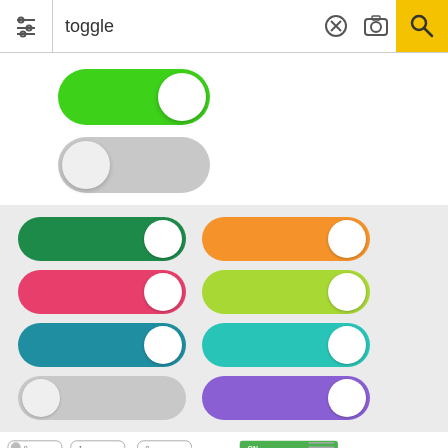[Figure (screenshot): Mobile app search bar with filter icon on left, text 'toggle', X button, camera icon, and yellow search button on right]
[Figure (illustration): Two large toggle switches: one green (ON, knob on right) and one gray (OFF, knob on left)]
[Figure (illustration): Grid of 8 colored toggle switches on gray background: left column has dark green, pink/red, teal, and gray toggles; right column has orange, yellow-green, teal, and purple toggles]
[Figure (illustration): Bottom strip of small toggle button icons in various styles, colors including green, red, orange, with ON/OFF labels, checkmarks, X marks, radio buttons, and sliders]